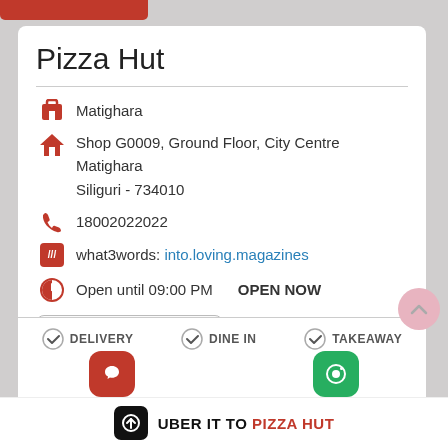Pizza Hut
Matighara
Shop G0009, Ground Floor, City Centre
Matighara
Siliguri - 734010
18002022022
what3words: into.loving.magazines
Open until 09:00 PM   OPEN NOW
fssai 12818006000281
DELIVERY   DINE IN   TAKEAWAY
UBER IT TO PIZZA HUT